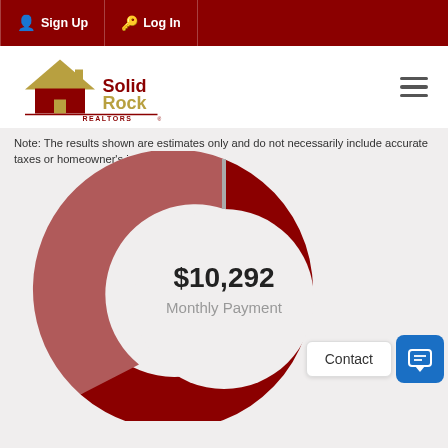Sign Up   Log In
[Figure (logo): Solid Rock Realtors logo with house icon]
Note: The results shown are estimates only and do not necessarily include accurate taxes or homeowner's insurance!
[Figure (donut-chart): Donut chart showing monthly payment of $10,292 with dark red large segment, medium red segment, and small gray segment]